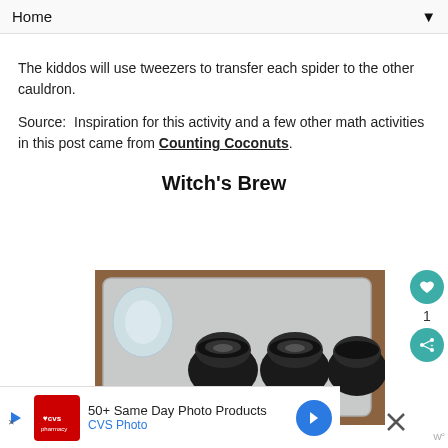Home ▼
The kiddos will use tweezers to transfer each spider to the other cauldron.
Source:  Inspiration for this activity and a few other math activities in this post came from Counting Coconuts.
Witch's Brew
[Figure (photo): Top-down view of a metal baking tray containing small dark cauldron-shaped containers and glass jars, sitting on a wooden surface.]
50+ Same Day Photo Products CVS Photo